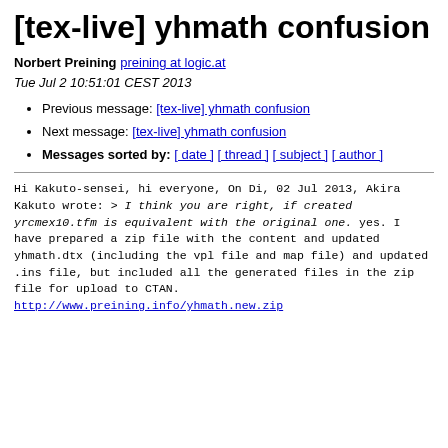[tex-live] yhmath confusion
Norbert Preining preining at logic.at
Tue Jul 2 10:51:01 CEST 2013
Previous message: [tex-live] yhmath confusion
Next message: [tex-live] yhmath confusion
Messages sorted by: [ date ] [ thread ] [ subject ] [ author ]
Hi Kakuto-sensei, hi everyone,

On Di, 02 Jul 2013, Akira Kakuto wrote:
> I think you are right, if created yrcmex10.tfm is equivalent with the original one.

yes.

I have prepared a zip file with the content and updated yhmath.dtx
(including the vpl file and map file) and updated .ins file,
but included all the generated files in the zip file for
upload to CTAN.
http://www.preining.info/yhmath.new.zip